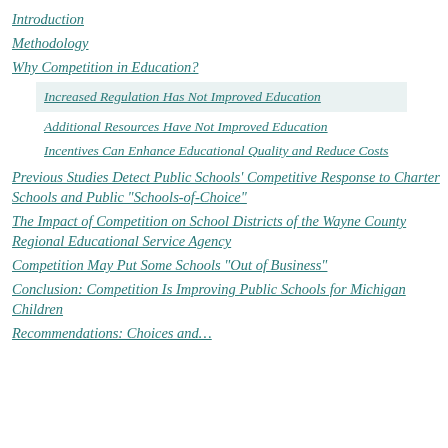Introduction
Methodology
Why Competition in Education?
Increased Regulation Has Not Improved Education
Additional Resources Have Not Improved Education
Incentives Can Enhance Educational Quality and Reduce Costs
Previous Studies Detect Public Schools' Competitive Response to Charter Schools and Public "Schools-of-Choice"
The Impact of Competition on School Districts of the Wayne County Regional Educational Service Agency
Competition May Put Some Schools "Out of Business"
Conclusion: Competition Is Improving Public Schools for Michigan Children
Recommendations: Choices and…